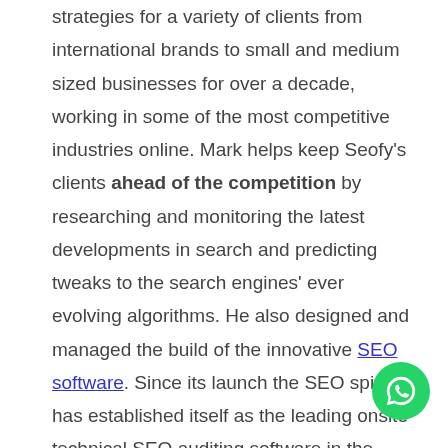strategies for a variety of clients from international brands to small and medium sized businesses for over a decade, working in some of the most competitive industries online. Mark helps keep Seofy's clients ahead of the competition by researching and monitoring the latest developments in search and predicting tweaks to the search engines' ever evolving algorithms. He also designed and managed the build of the innovative SEO software. Since its launch the SEO spider has established itself as the leading onsite technical SEO auditing software in the industry.

Mark won recognition of a 'talented and inspiring practitioner who has revolutionised the UK search industry' in the UK Search Awards. When not being a geek he likes to spend time with family and friends